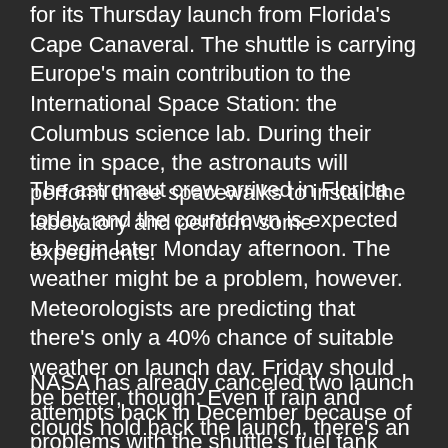for its Thursday launch from Florida's Cape Canaveral. The shuttle is carrying Europe's main contribution to the International Space Station: the Columbus science lab. During their time in space, the astronauts will perform three spacewalks to install the laboratory and perform some experiments.
The astronaut crew arrived in Florida today, and the countdown is expected to begin later Monday afternoon. The weather might be a problem, however. Meteorologists are predicting that there's only a 40% chance of suitable weather on launch day. Friday should be better, though. Even if rain and clouds hold back the launch, there's an 80% chance the shuttle will be able to lift off at the end of the week.
NASA has already canceled two launch attempts back in December because of problems with the shuttle's fuel tank sensors. With an already crowded launch schedule,